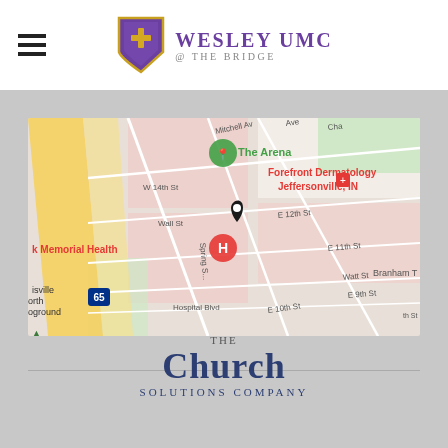[Figure (logo): Wesley UMC @ The Bridge logo with purple shield emblem and stylized text]
[Figure (map): Google Maps screenshot showing Jeffersonville, IN area with a black location pin marker. Visible landmarks include The Arena, Forefront Dermatology Jeffersonville IN, k Memorial Health, and street names including Wall St, E 12th St, E 11th St, E 10th St, Hospital Blvd, Spring St, Mitchell Av, W 14th St. Interstate 65 visible on left.]
[Figure (logo): The Church Solutions Company logo in navy blue text]